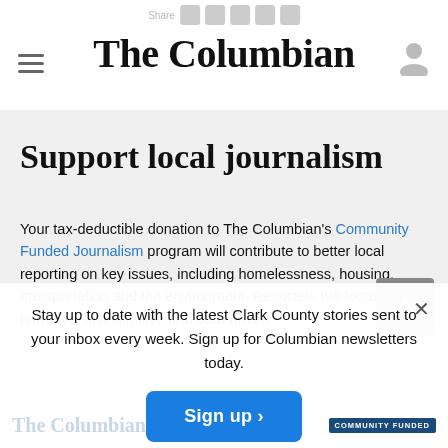The Columbian
Support local journalism
Your tax-deductible donation to The Columbian's Community Funded Journalism program will contribute to better local reporting on key issues, including homelessness, housing, transportation and the environment. Reporters will focus on narrative, investigative and data-driven storytelling
Stay up to date with the latest Clark County stories sent to your inbox every week. Sign up for Columbian newsletters today.